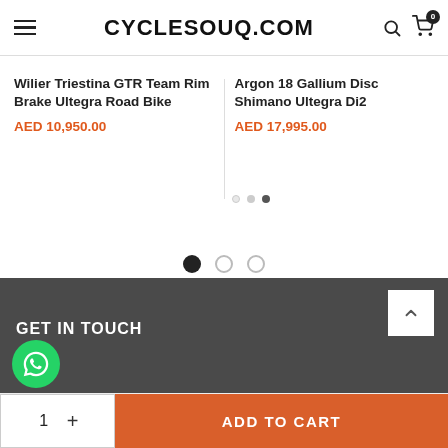CYCLESOUQ.COM
Wilier Triestina GTR Team Rim Brake Ultegra Road Bike
AED 10,950.00
Argon 18 Gallium Disc Shimano Ultegra Di2
AED 17,995.00
GET IN TOUCH
ADD TO CART